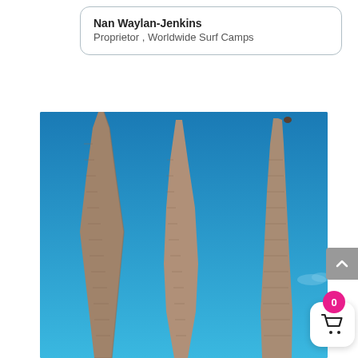Nan Waylan-Jenkins
Proprietor , Worldwide Surf Camps
[Figure (photo): Three tall palm tree trunks against a bright blue sky, photographed from below looking up.]